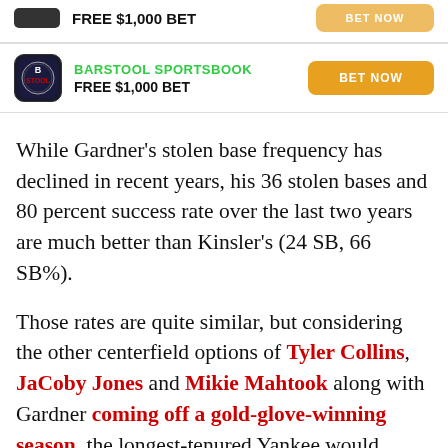[Figure (other): Partial sportsbook ad card at top: black logo box, FREE $1,000 BET text, orange BET NOW button (partially visible)]
[Figure (other): Barstool Sportsbook ad card: Barstool logo, green BARSTOOL SPORTSBOOK label, FREE $1,000 BET offer, orange BET NOW button]
While Gardner’s stolen base frequency has declined in recent years, his 36 stolen bases and 80 percent success rate over the last two years are much better than Kinsler’s (24 SB, 66 SB%).
Those rates are quite similar, but considering the other centerfield options of Tyler Collins, JaCoby Jones and Mikie Mahtook along with Gardner coming off a gold-glove-winning season, the longest-tenured Yankee would unquestionably improve their lineup experience by displacing...